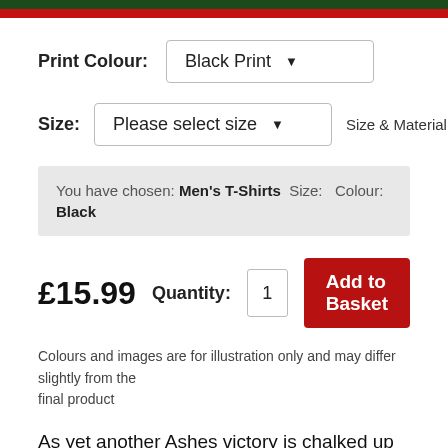Print Colour: Black Print
Size: Please select size   Size & Material Guide (i)
You have chosen: Men's T-Shirts  Size:  Colour: Black
£15.99  Quantity:  1  Add to Basket
Colours and images are for illustration only and may differ slightly from the final product
As yet another Ashes victory is chalked up for England we are delighted to report once again on the demise of Australian cricket in a style that harks back to the 1882 original. Only here we have included "following a long,